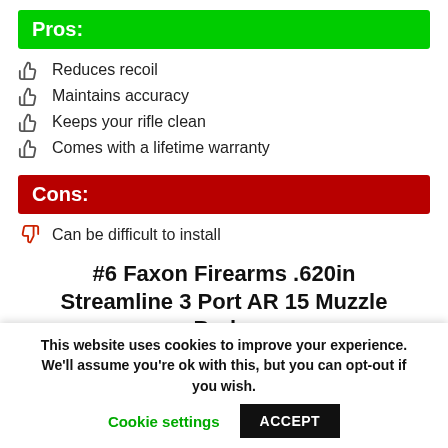Pros:
Reduces recoil
Maintains accuracy
Keeps your rifle clean
Comes with a lifetime warranty
Cons:
Can be difficult to install
#6 Faxon Firearms .620in Streamline 3 Port AR 15 Muzzle Brake
This website uses cookies to improve your experience. We'll assume you're ok with this, but you can opt-out if you wish. Cookie settings ACCEPT